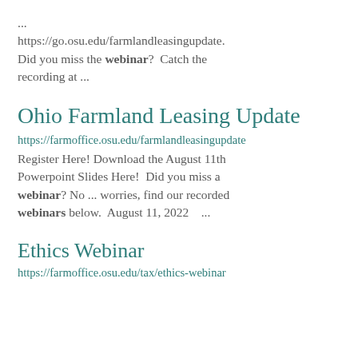... https://go.osu.edu/farmlandleasingupdate. Did you miss the webinar? Catch the recording at ...
Ohio Farmland Leasing Update
https://farmoffice.osu.edu/farmlandleasingupdate Register Here! Download the August 11th Powerpoint Slides Here! Did you miss a webinar? No ... worries, find our recorded webinars below. August 11, 2022 ...
Ethics Webinar
https://farmoffice.osu.edu/tax/ethics-webinar